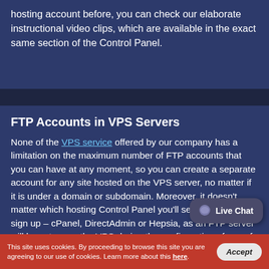hosting account before, you can check our elaborate instructional video clips, which are available in the exact same section of the Control Panel.
FTP Accounts in VPS Servers
None of the VPS service offered by our company has a limitation on the maximum number of FTP accounts that you can have at any moment, so you can create a separate account for any site hosted on the VPS server, no matter if it is under a domain or subdomain. Moreover, it doesn't matter which hosting Control Panel you'll select when you sign up – cPanel, DirectAdmin or Hepsia, as an FTP server will be set up on the VPS during the configuration of any of them. If you want several
This site uses cookies. By proceeding to browse this site you are agreeing to our use of cookies. Learn more about this here.